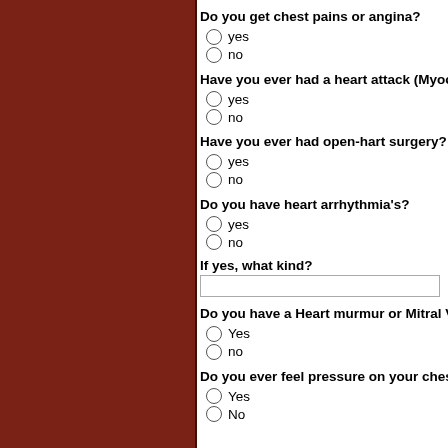Do you get chest pains or angina?
yes
no
Have you ever had a heart attack (Myocar...
yes
no
Have you ever had open-hart surgery?
yes
no
Do you have heart arrhythmia's?
yes
no
If yes, what kind?
Do you have a Heart murmur or Mitral Valv...
Yes
no
Do you ever feel pressure on your chest?
Yes
No